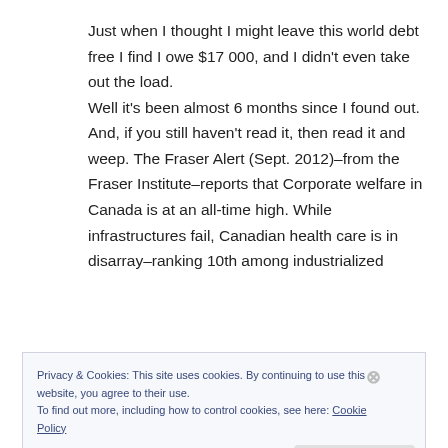Just when I thought I might leave this world debt free I find I owe $17 000, and I didn't even take out the load. Well it's been almost 6 months since I found out. And, if you still haven't read it, then read it and weep. The Fraser Alert (Sept. 2012)–from the Fraser Institute–reports that Corporate welfare in Canada is at an all-time high. While infrastructures fail, Canadian health care is in disarray–ranking 10th among industrialized
Privacy & Cookies: This site uses cookies. By continuing to use this website, you agree to their use. To find out more, including how to control cookies, see here: Cookie Policy